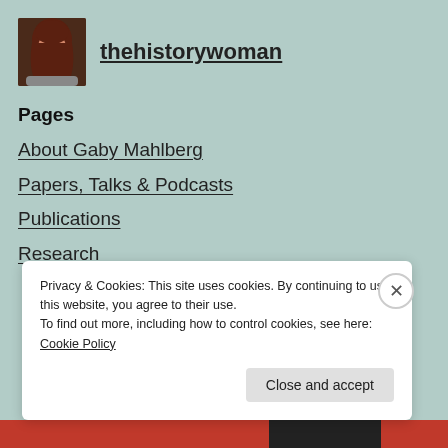[Figure (photo): Profile photo of a woman with long dark hair, smiling, against a dark background]
thehistorywoman
Pages
About Gaby Mahlberg
Papers, Talks & Podcasts
Publications
Research
Privacy & Cookies: This site uses cookies. By continuing to use this website, you agree to their use.
To find out more, including how to control cookies, see here: Cookie Policy
Close and accept